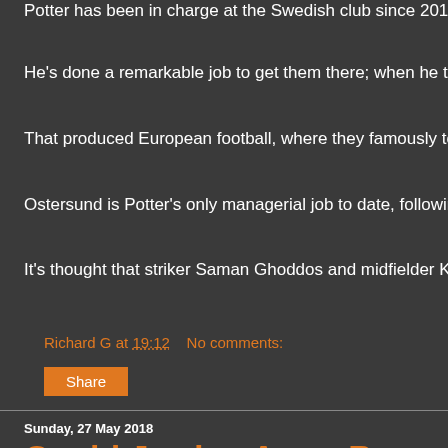Potter has been in charge at the Swedish club since 2016 and a re...
He's done a remarkable job to get them there; when he took over th...
That produced European football, where they famously took on Arse...
Ostersund is Potter's only managerial job to date, following a long c...
It's thought that striker Saman Ghoddos and midfielder Ken Sema c...
Richard G at 19:12   No comments:
Share
Sunday, 27 May 2018
Could Jordan Ayew Be Heading To Scotland?